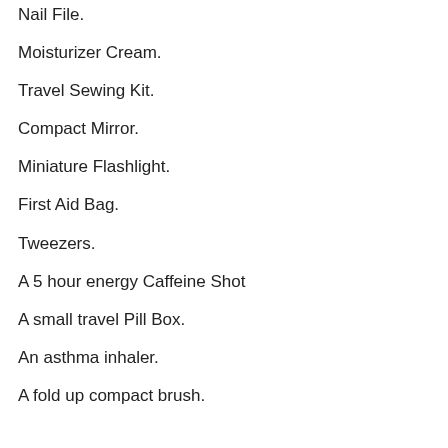Nail File.
Moisturizer Cream.
Travel Sewing Kit.
Compact Mirror.
Miniature Flashlight.
First Aid Bag.
Tweezers.
A 5 hour energy Caffeine Shot
A small travel Pill Box.
An asthma inhaler.
A fold up compact brush.